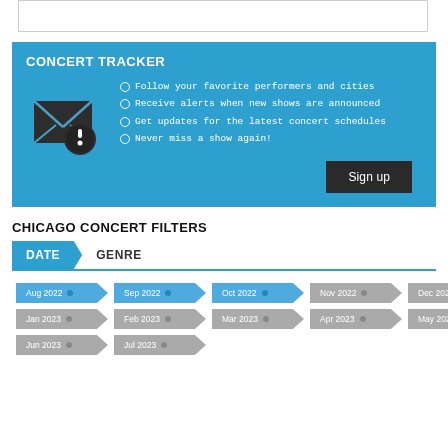[Figure (other): Concert Tracker banner with envelope/notification icon, bullet list, and sign up button on blue background]
Follow your favorite performers and cities
Receive alerts when new shows are announced
Get updates for the latest concert schedules
Never miss a show again!
CHICAGO CONCERT FILTERS
[Figure (infographic): Date filter tab UI with arrow-shaped month buttons: Aug 2022, Sep 2022, Oct 2022 (active/blue), Nov 2022, Dec 2022 (grey), Jan 2023 through Jul 2023 (grey)]